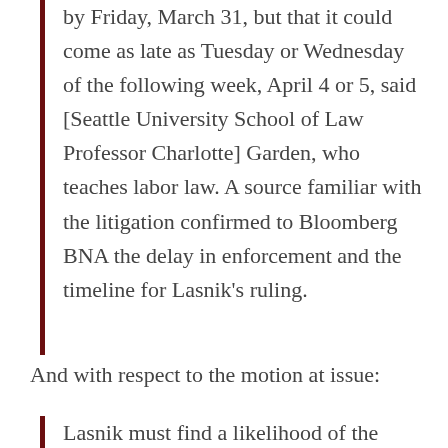by Friday, March 31, but that it could come as late as Tuesday or Wednesday of the following week, April 4 or 5, said [Seattle University School of Law Professor Charlotte] Garden, who teaches labor law. A source familiar with the litigation confirmed to Bloomberg BNA the delay in enforcement and the timeline for Lasnik's ruling.
And with respect to the motion at issue:
Lasnik must find a likelihood of the Chamber's success down the road in order